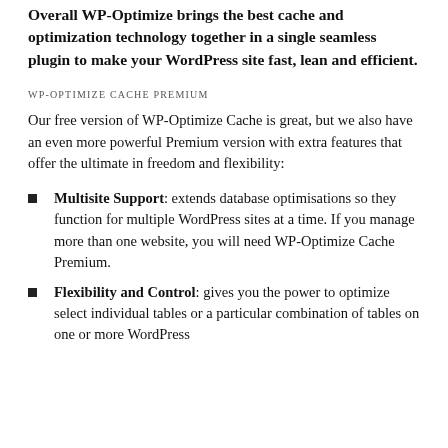Overall WP-Optimize brings the best cache and optimization technology together in a single seamless plugin to make your WordPress site fast, lean and efficient.
WP-OPTIMIZE CACHE PREMIUM
Our free version of WP-Optimize Cache is great, but we also have an even more powerful Premium version with extra features that offer the ultimate in freedom and flexibility:
Multisite Support: extends database optimisations so they function for multiple WordPress sites at a time. If you manage more than one website, you will need WP-Optimize Cache Premium.
Flexibility and Control: gives you the power to optimize select individual tables or a particular combination of tables on one or more WordPress